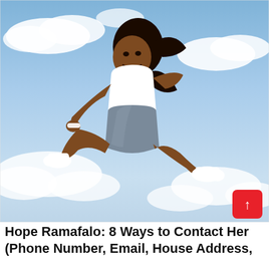[Figure (photo): A young Black woman with long dark hair, wearing a white crop top, silver/metallic biker shorts, white sneakers and white socks, jumping mid-air in a dynamic pose against a blue sky with clouds. She is leaping with one leg kicked forward and one arm reaching back, smiling broadly.]
Hope Ramafalo: 8 Ways to Contact Her (Phone Number, Email, House Address)